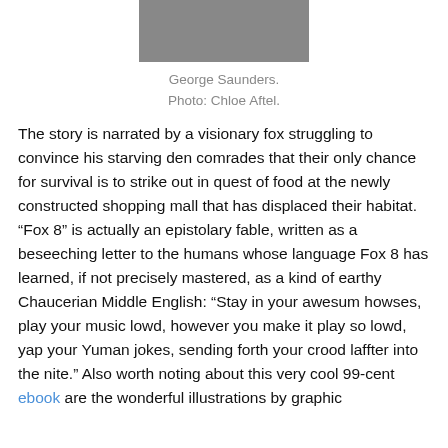[Figure (photo): Black and white partial photo of George Saunders at top of page]
George Saunders.
Photo: Chloe Aftel.
The story is narrated by a visionary fox struggling to convince his starving den comrades that their only chance for survival is to strike out in quest of food at the newly constructed shopping mall that has displaced their habitat. “Fox 8” is actually an epistolary fable, written as a beseeching letter to the humans whose language Fox 8 has learned, if not precisely mastered, as a kind of earthy Chaucerian Middle English: “Stay in your awesum howses, play your music lowd, however you make it play so lowd, yap your Yuman jokes, sending forth your crood laffter into the nite.” Also worth noting about this very cool 99-cent ebook are the wonderful illustrations by graphic